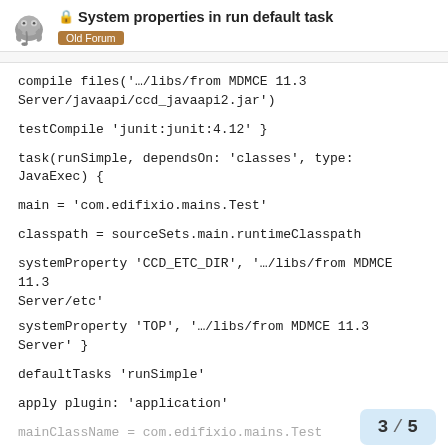System properties in run default task — Old Forum
compile files('…/libs/from MDMCE 11.3 Server/javaapi/ccd_javaapi2.jar')
testCompile 'junit:junit:4.12' }
task(runSimple, dependsOn: 'classes', type: JavaExec) {
main = 'com.edifixio.mains.Test'
classpath = sourceSets.main.runtimeClasspath
systemProperty 'CCD_ETC_DIR', '…/libs/from MDMCE 11.3 Server/etc'
systemProperty 'TOP', '…/libs/from MDMCE 11.3 Server' }
defaultTasks 'runSimple'
apply plugin: 'application'
mainClassName = com.edifixio.mains.Test